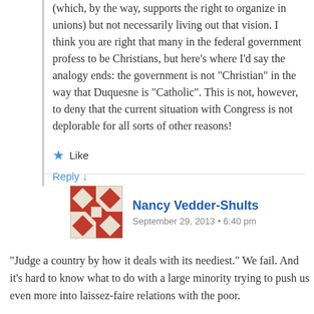(which, by the way, supports the right to organize in unions) but not necessarily living out that vision. I think you are right that many in the federal government profess to be Christians, but here’s where I’d say the analogy ends: the government is not “Christian” in the way that Duquesne is “Catholic”. This is not, however, to deny that the current situation with Congress is not deplorable for all sorts of other reasons!
Like
Reply ↓
Nancy Vedder-Shults
September 29, 2013 • 6:40 pm
“Judge a country by how it deals with its neediest.” We fail. And it’s hard to know what to do with a large minority trying to push us even more into laissez-faire relations with the poor.